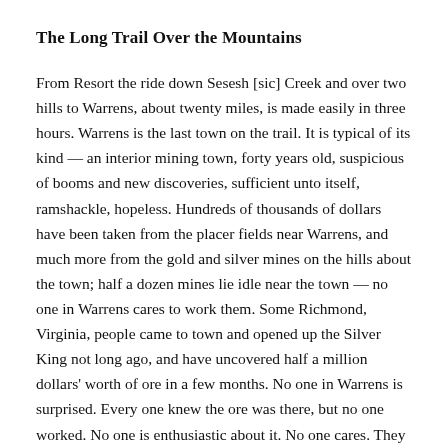The Long Trail Over the Mountains
From Resort the ride down Sesesh [sic] Creek and over two hills to Warrens, about twenty miles, is made easily in three hours. Warrens is the last town on the trail. It is typical of its kind — an interior mining town, forty years old, suspicious of booms and new discoveries, sufficient unto itself, ramshackle, hopeless. Hundreds of thousands of dollars have been taken from the placer fields near Warrens, and much more from the gold and silver mines on the hills about the town; half a dozen mines lie idle near the town — no one in Warrens cares to work them. Some Richmond, Virginia, people came to town and opened up the Silver King not long ago, and have uncovered half a million dollars' worth of ore in a few months. No one in Warrens is surprised. Every one knew the ore was there, but no one worked. No one is enthusiastic about it. No one cares. They outfit for Thunder Mountain at Warrens; pack trains loaded with groceries and supplies swarm over the hills for the new gold fields every day